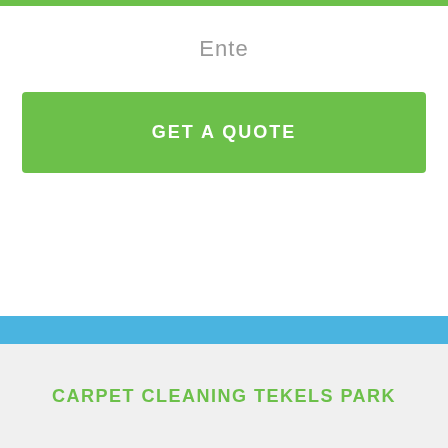Ente
GET A QUOTE
CARPET CLEANING TEKELS PARK